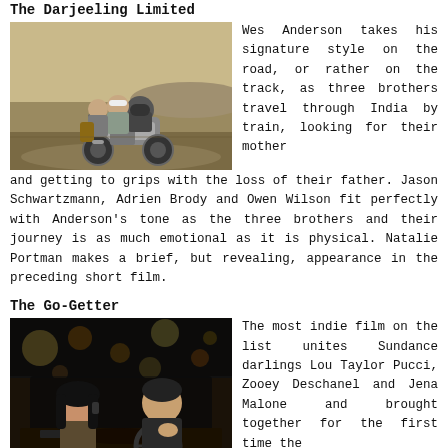The Darjeeling Limited
[Figure (photo): Three men riding a motorcycle together on a dusty road in India]
Wes Anderson takes his signature style on the road, or rather on the track, as three brothers travel through India by train, looking for their mother and getting to grips with the loss of their father. Jason Schwartzmann, Adrien Brody and Owen Wilson fit perfectly with Anderson's tone as the three brothers and their journey is as much emotional as it is physical. Natalie Portman makes a brief, but revealing, appearance in the preceding short film.
The Go-Getter
[Figure (photo): A young woman and a young man inside a car at night, colorful bokeh lights in background]
The most indie film on the list unites Sundance darlings Lou Taylor Pucci, Zooey Deschanel and Jena Malone and brought together for the first time the she and him in She & Him. A young man has a quarter life crisis,